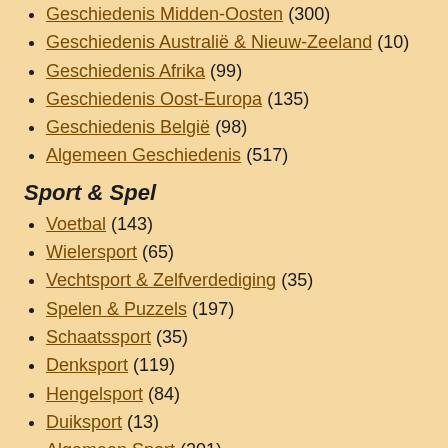Geschiedenis Midden-Oosten (300)
Geschiedenis Australië & Nieuw-Zeeland (10)
Geschiedenis Afrika (99)
Geschiedenis Oost-Europa (135)
Geschiedenis België (98)
Algemeen Geschiedenis (517)
Sport & Spel
Voetbal (143)
Wielersport (65)
Vechtsport & Zelfverdediging (35)
Spelen & Puzzels (197)
Schaatssport (35)
Denksport (119)
Hengelsport (84)
Duiksport (13)
Algemeen Sport (201)
Nederland & België
Noord-Holland (900)
Zuid-Holland (408)